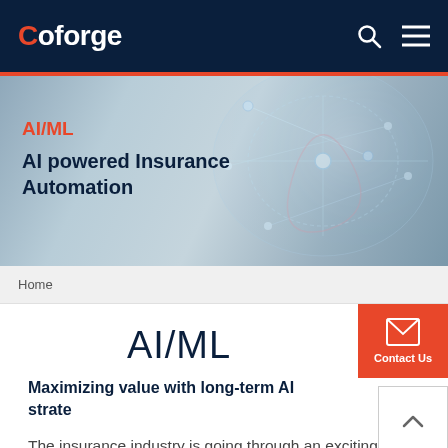Coforge
[Figure (illustration): Hero banner with neural network / AI technology graphic background in blue-grey tones, with glowing connection nodes]
AI/ML
AI powered Insurance Automation
Home
AI/ML
Maximizing value with long-term AI strate…
The insurance industry is going through an exciting phase where technology is shaping the way it operates.